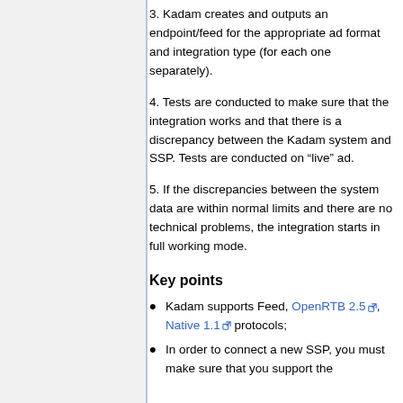3. Kadam creates and outputs an endpoint/feed for the appropriate ad format and integration type (for each one separately).
4. Tests are conducted to make sure that the integration works and that there is a discrepancy between the Kadam system and SSP. Tests are conducted on “live” ad.
5. If the discrepancies between the system data are within normal limits and there are no technical problems, the integration starts in full working mode.
Key points
Kadam supports Feed, OpenRTB 2.5, Native 1.1 protocols;
In order to connect a new SSP, you must make sure that you support the